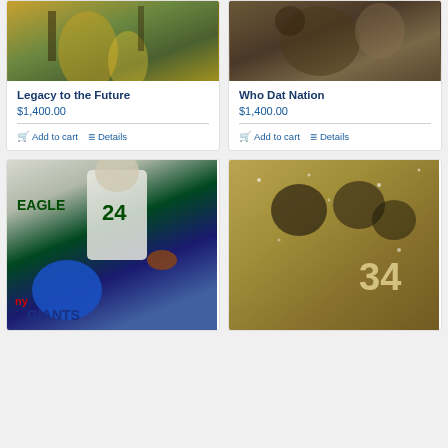[Figure (photo): Artwork showing figures in yellow/gold tones with trees and city background - Legacy to the Future]
Legacy to the Future
$1,400.00
Add to cart
Details
[Figure (photo): Artwork showing dark toned figures in motion - Who Dat Nation]
Who Dat Nation
$1,400.00
Add to cart
Details
[Figure (photo): Sports artwork showing Philadelphia Eagles and NY Giants football players]
[Figure (photo): Sports artwork showing Pittsburgh Steelers football players in vintage sepia style, player number 34 visible]